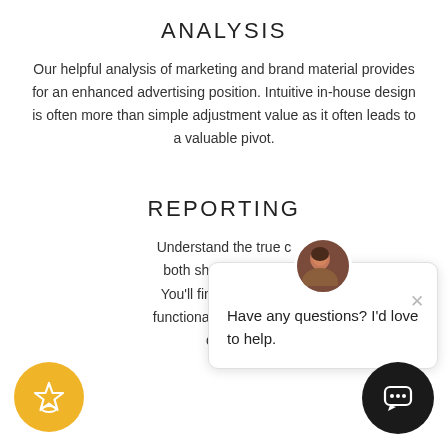ANALYSIS
Our helpful analysis of marketing and brand material provides for an enhanced advertising position. Intuitive in-house design is often more than simple adjustment value as it often leads to a valuable pivot.
REPORTING
Understand the true c both short term and You'll find our intellig functional impression, i cycle.
[Figure (screenshot): Chat popup widget with female avatar, close button, and message 'Have any questions? I'd love to help.']
[Figure (illustration): Yellow circular button with star/award icon]
[Figure (illustration): Black circular chat button with speech bubble icon]